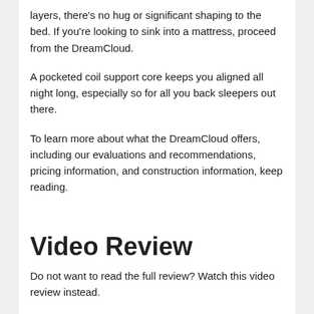layers, there's no hug or significant shaping to the bed. If you're looking to sink into a mattress, proceed from the DreamCloud.
A pocketed coil support core keeps you aligned all night long, especially so for all you back sleepers out there.
To learn more about what the DreamCloud offers, including our evaluations and recommendations, pricing information, and construction information, keep reading.
Video Review
Do not want to read the full review? Watch this video review instead.